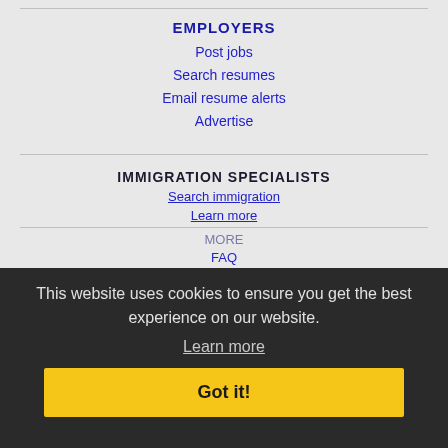EMPLOYERS
Post jobs
Search resumes
Email resume alerts
Advertise
IMMIGRATION SPECIALISTS
This website uses cookies to ensure you get the best experience on our website.
Learn more
Got it!
MORE
FAQ
Contact us